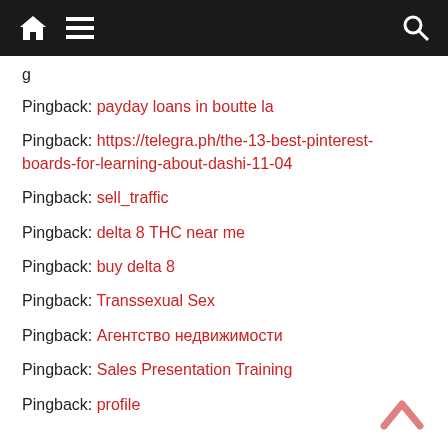Navigation bar with home, menu, and search icons
Pingback: payday loans in boutte la
Pingback: https://telegra.ph/the-13-best-pinterest-boards-for-learning-about-dashi-11-04
Pingback: sell_traffic
Pingback: delta 8 THC near me
Pingback: buy delta 8
Pingback: Transsexual Sex
Pingback: Агентство недвижимости
Pingback: Sales Presentation Training
Pingback: profile